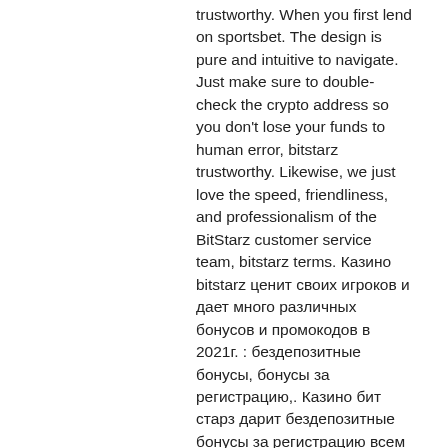trustworthy. When you first lend on sportsbet. The design is pure and intuitive to navigate. Just make sure to double-check the crypto address so you don't lose your funds to human error, bitstarz trustworthy. Likewise, we just love the speed, friendliness, and professionalism of the BitStarz customer service team, bitstarz terms. Казино bitstarz ценит своих игроков и дает много различных бонусов и промокодов в 2021г. : бездепозитные бонусы, бонусы за регистрацию,. Казино бит старз дарит бездепозитные бонусы за регистрацию всем новым посетителям. Bitstarz — известный бренд казино, у которого есть собственная партнерская программа. О том, сколько можно в ней заработать, какие у нее преимущества перед. Здесь предусмотрена регистрация личного кабинета разными способами. 7, curacao (antillephone n. Бездепозитный зеркало бонус casino bitstarz. На этой площадке